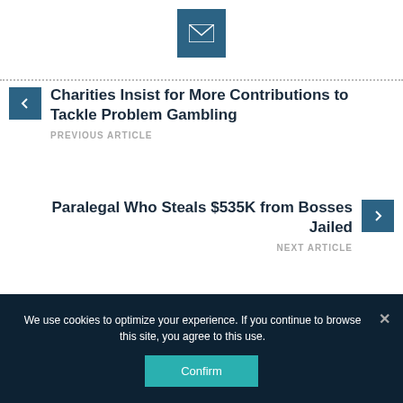[Figure (illustration): Email/envelope icon in a dark blue square button]
Charities Insist for More Contributions to Tackle Problem Gambling
PREVIOUS ARTICLE
Paralegal Who Steals $535K from Bosses Jailed
NEXT ARTICLE
We use cookies to optimize your experience. If you continue to browse this site, you agree to this use.